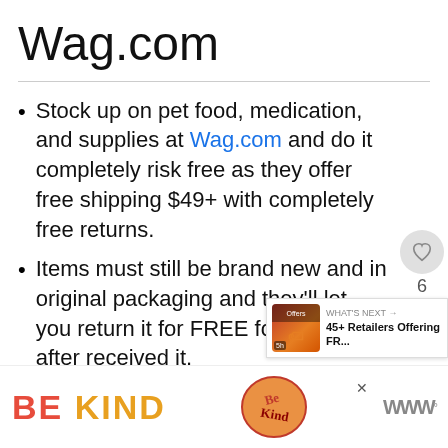Wag.com
Stock up on pet food, medication, and supplies at Wag.com and do it completely risk free as they offer free shipping $49+ with completely free returns.
Items must still be brand new and in original packaging and they'll let you return it for FREE for 365 days after received it.
[Figure (screenshot): Screenshot UI overlay with heart/like button, share button, count of 6, and 'WHAT'S NEXT' panel showing '45+ Retailers Offering FR...']
[Figure (infographic): Ad banner at bottom with 'BE KIND' text in red and yellow/orange, decorative illustration, close button, and logo]